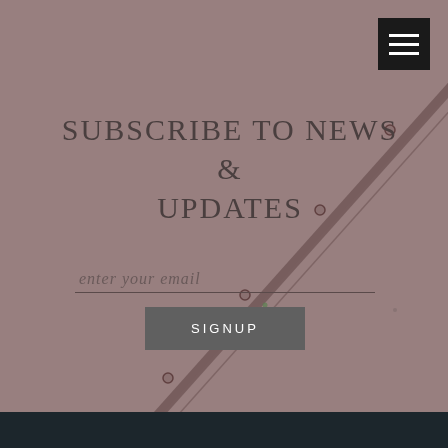[Figure (photo): Background photo of a roofing surface with diagonal metal ridge/seam and rivets, muted rose-brown tones, with a dark band at the bottom.]
SUBSCRIBE TO NEWS & UPDATES
enter your email
SIGNUP